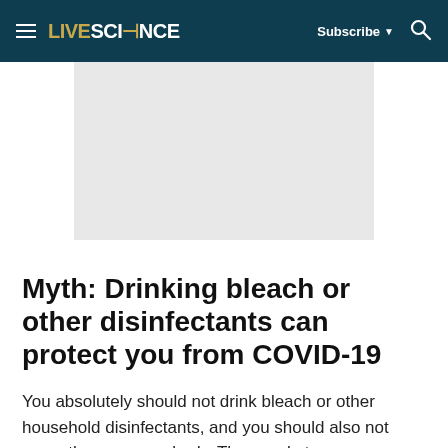LIVESCIENCE — Subscribe ▼ 🔍
[Figure (other): Gray advertisement placeholder rectangle]
Myth: Drinking bleach or other disinfectants can protect you from COVID-19
You absolutely should not drink bleach or other household disinfectants, and you should also not spray them on your body. These substances are